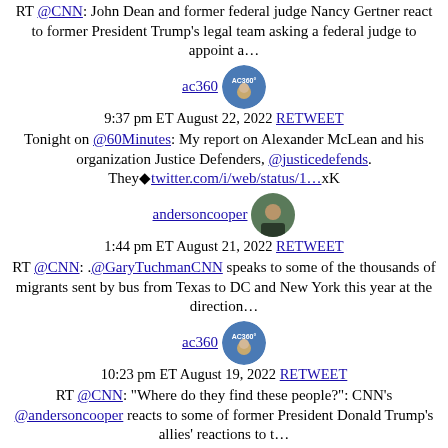RT @CNN: John Dean and former federal judge Nancy Gertner react to former President Trump's legal team asking a federal judge to appoint a…
ac360 — 9:37 pm ET August 22, 2022 RETWEET
Tonight on @60Minutes: My report on Alexander McLean and his organization Justice Defenders, @justicedefends. They🔷twitter.com/i/web/status/1…xK
andersoncooper — 1:44 pm ET August 21, 2022 RETWEET
RT @CNN: .@GaryTuchmanCNN speaks to some of the thousands of migrants sent by bus from Texas to DC and New York this year at the direction…
ac360 — 10:23 pm ET August 19, 2022 RETWEET
RT @CNN: "Where do they find these people?": CNN's @andersoncooper reacts to some of former President Donald Trump's allies' reactions to t…
ac360 — 9:38 pm ET August 19, 2022 RETWEET